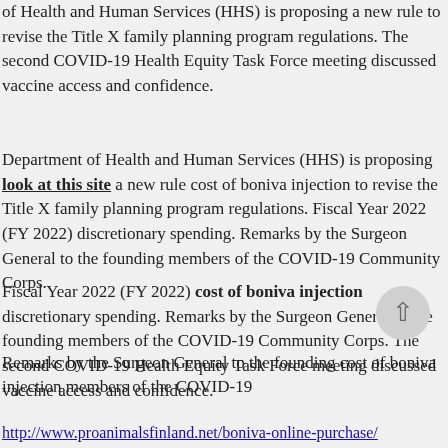of Health and Human Services (HHS) is proposing a new rule to revise the Title X family planning program regulations. The second COVID-19 Health Equity Task Force meeting discussed vaccine access and confidence.
Department of Health and Human Services (HHS) is proposing look at this site a new rule cost of boniva injection to revise the Title X family planning program regulations. Fiscal Year 2022 (FY 2022) discretionary spending. Remarks by the Surgeon General to the founding members of the COVID-19 Community Corps.
Fiscal Year 2022 (FY 2022) cost of boniva injection discretionary spending. Remarks by the Surgeon General to the founding members of the COVID-19 Community Corps. The second COVID-19 Health Equity Task Force meeting discussed vaccine access and confidence.
Remarks by the Surgeon General to the founding cost of boniva injection members of the COVID-19
http://www.proanimalsfinland.net/boniva-online-purchase/